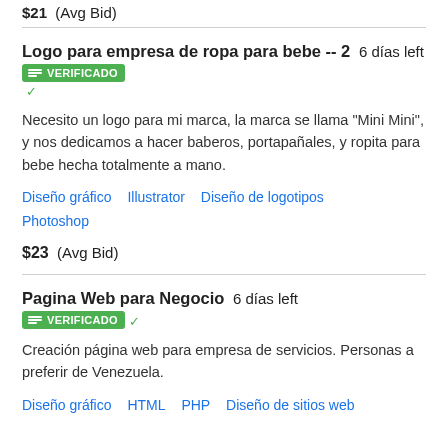$21  (Avg Bid)
Logo para empresa de ropa para bebe -- 2  6 días left
VERIFICADO
Necesito un logo para mi marca, la marca se llama "Mini Mini", y nos dedicamos a hacer baberos, portapañales, y ropita para bebe hecha totalmente a mano.
Diseño gráfico   Illustrator   Diseño de logotipos   Photoshop
$23  (Avg Bid)
Pagina Web para Negocio  6 días left
VERIFICADO
Creación página web para empresa de servicios. Personas a preferir de Venezuela.
Diseño gráfico   HTML   PHP   Diseño de sitios web